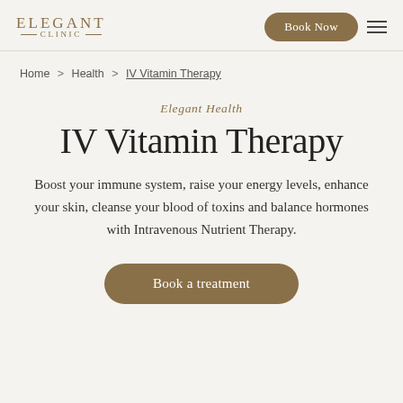ELEGANT CLINIC | Book Now
Home > Health > IV Vitamin Therapy
Elegant Health
IV Vitamin Therapy
Boost your immune system, raise your energy levels, enhance your skin, cleanse your blood of toxins and balance hormones with Intravenous Nutrient Therapy.
Book a treatment